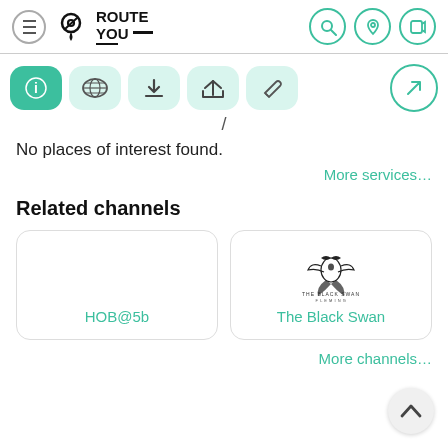[Figure (screenshot): RouteYou app header with hamburger menu, RouteYou logo, and search/location/login icon buttons]
[Figure (screenshot): Toolbar with 5 icon buttons (info active, globe, download, share, pencil) and a navigation arrow button on the right]
No places of interest found.
More services…
Related channels
[Figure (screenshot): Channel card for HOB@5b with no logo]
[Figure (screenshot): Channel card for The Black Swan with phoenix logo]
More channels…